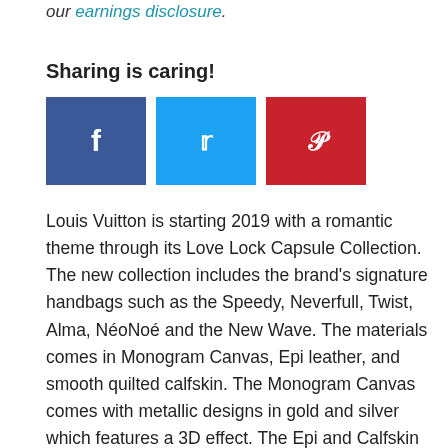our earnings disclosure.
Sharing is caring!
[Figure (other): Social sharing buttons: Facebook (blue), Twitter (light blue), Pinterest (red)]
Louis Vuitton is starting 2019 with a romantic theme through its Love Lock Capsule Collection. The new collection includes the brand's signature handbags such as the Speedy, Neverfull, Twist, Alma, NéoNoé and the New Wave. The materials comes in Monogram Canvas, Epi leather, and smooth quilted calfskin. The Monogram Canvas comes with metallic designs in gold and silver which features a 3D effect. The Epi and Calfskin are seen with silver and gold-tone embellishments in Louis Vuitton's iconic symbols suchs as padlock, key and Monogram flower. The